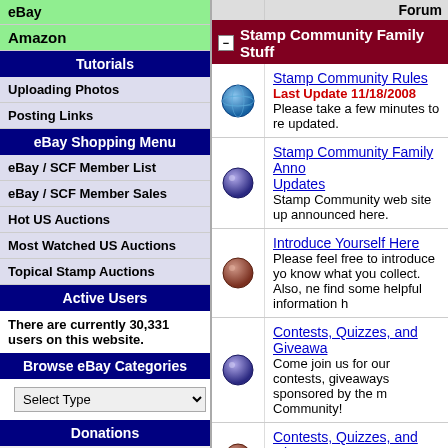eBay
Amazon
Tutorials
Uploading Photos
Posting Links
eBay Shopping Menu
eBay / SCF Member List
eBay / SCF Member Sales
Hot US Auctions
Most Watched US Auctions
Topical Stamp Auctions
Active Users
There are currently 30,331 users on this website.
Browse eBay Categories
Select Type
Donations
Donate
Forum
Stamp Community Family Stuff
Stamp Community Rules
Last Update 11/18/2008
Please take a few minutes to re updated.
Stamp Community Family Announcements and Updates
Stamp Community web site updates will be announced here.
Introduce Yourself Here
Please feel free to introduce yourself and let us know what you collect. Also, new members will find some helpful information h
Contests, Quizzes, and Giveaways
Come join us for our contests, quizzes, and giveaways sponsored by the members of Stamp Community!
Contests, Quizzes, and Giveaways
Ended Contests and giveaways
US Stamps and Covers Discussion
US Classic Stamps - As Issued